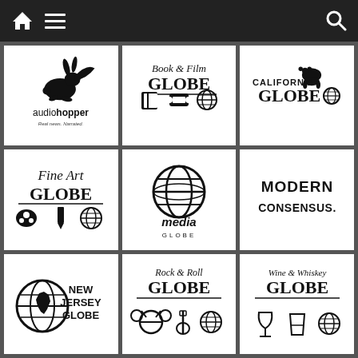Navigation bar with home, menu, and search icons
[Figure (logo): audiohopper logo — running rabbit silhouette, text 'audiohopper' bold, tagline 'Real news. Narrated.']
[Figure (logo): Book & Film GLOBE logo with book, ticket, and globe icons]
[Figure (logo): CALIFORNIA GLOBE logo with bear and globe icons]
[Figure (logo): Fine Art GLOBE logo with palette, pencil, and globe icons]
[Figure (logo): media GLOBE logo with large globe icon]
[Figure (logo): MODERN CONSENSUS. logo in bold sans-serif]
[Figure (logo): NEW JERSEY GLOBE logo with globe and NJ state shape]
[Figure (logo): Rock & Roll GLOBE logo with drums, guitar, and globe icons]
[Figure (logo): Wine & Whiskey GLOBE logo with wine glass, whiskey glass, and globe icons]